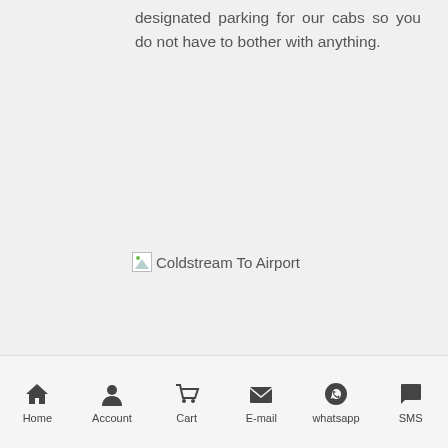designated parking for our cabs so you do not have to bother with anything.
[Figure (photo): Broken image placeholder labeled 'Coldstream To Airport']
Swift Process:
When you choose Online Taxi Booking, you get served with
Home | Account | Cart | E-mail | whatsapp | SMS